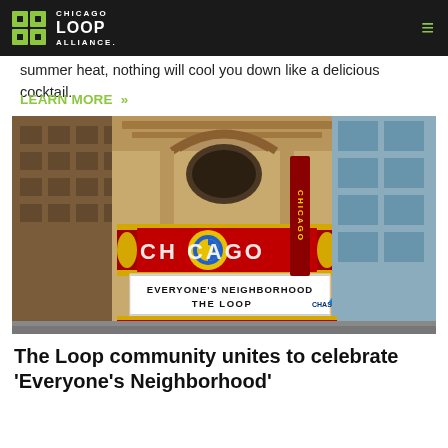Chicago Loop Alliance
summer heat, nothing will cool you down like a delicious cocktail.
LEARN MORE »
[Figure (photo): Chicago Theatre marquee sign reading 'EVERYONE'S NEIGHBORHOOD THE LOOP' with CHASE sponsor logo]
The Loop community unites to celebrate 'Everyone's Neighborhood'